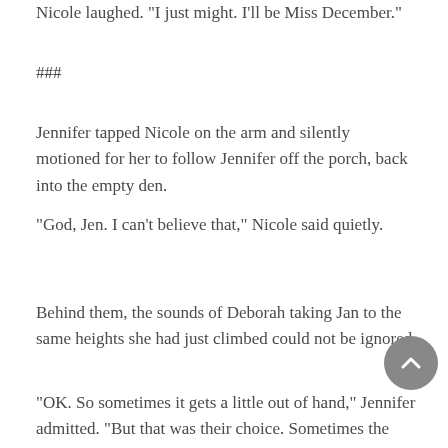Nicole laughed.  'I just might. I'll be Miss December.'
###
Jennifer tapped Nicole on the arm and silently motioned for her to follow Jennifer off the porch, back into the empty den.
“God, Jen. I can’t believe that,” Nicole said quietly.
Behind them, the sounds of Deborah taking Jan to the same heights she had just climbed could not be ignored.
“OK. So sometimes it gets a little out of hand,” Jennifer admitted. “But that was their choice. Sometimes the women want pictures or videos for their husbands, or